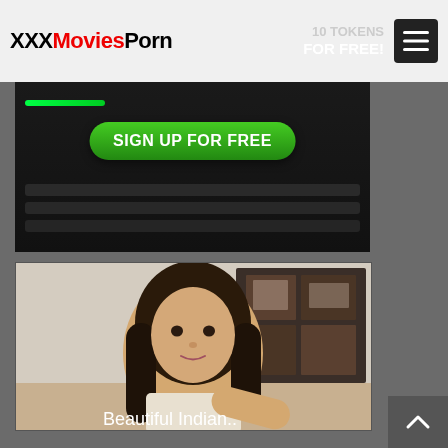XXXMoviesPorn | 10 TOKENS FOR FREE!
[Figure (screenshot): Advertisement banner with keyboard background, green line graphic, and green 'SIGN UP FOR FREE' button]
[Figure (photo): Thumbnail of a young woman with long dark hair, indoor webcam-style photo]
Beautiful Indian..